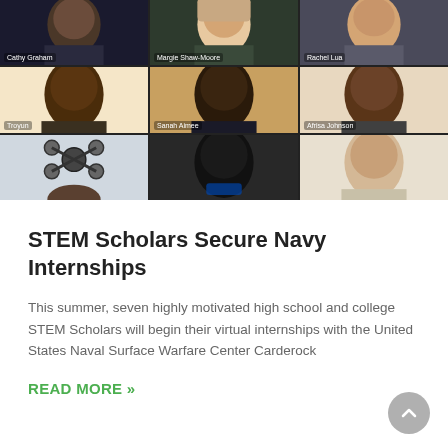[Figure (screenshot): Zoom video call screenshot showing 9 participants in a 3x3 grid. Top row: Cathy Graham, Margie Shaw-Moore, Rachel Lua. Middle row: Troxan, Sanah Aimee, Afrisa Johnson. Bottom row: three more participants including one with a molecular model, one in dark clothing, and one male participant.]
STEM Scholars Secure Navy Internships
This summer, seven highly motivated high school and college STEM Scholars will begin their virtual internships with the United States Naval Surface Warfare Center Carderock
READ MORE »